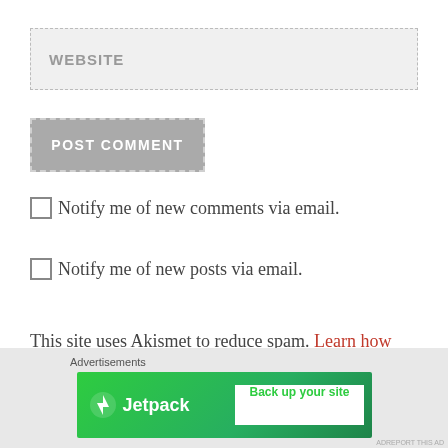WEBSITE
POST COMMENT
Notify me of new comments via email.
Notify me of new posts via email.
This site uses Akismet to reduce spam. Learn how your comment data is processed.
[Figure (screenshot): Jetpack advertisement banner with green background, Jetpack logo and 'Back up your site' CTA button]
Advertisements